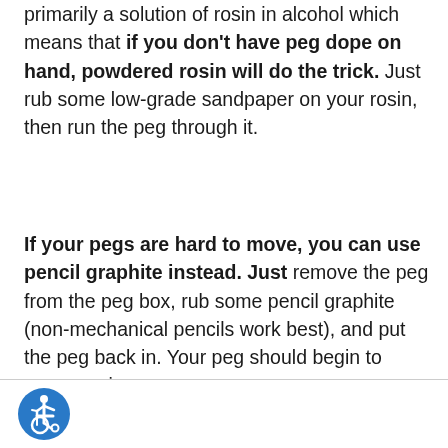primarily a solution of rosin in alcohol which means that if you don't have peg dope on hand, powdered rosin will do the trick. Just rub some low-grade sandpaper on your rosin, then run the peg through it.
If your pegs are hard to move, you can use pencil graphite instead. Just remove the peg from the peg box, rub some pencil graphite (non-mechanical pencils work best), and put the peg back in. Your peg should begin to move easier.
[Figure (illustration): Blue circular accessibility icon (International Symbol of Access) with white wheelchair user symbol]